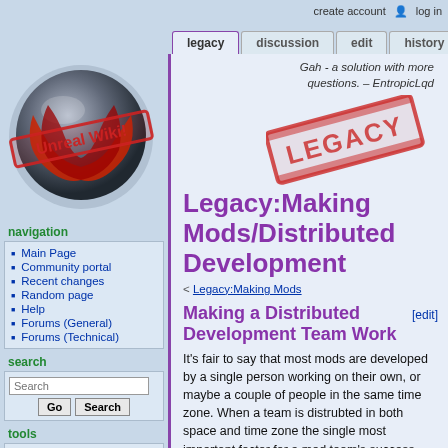create account  log in
legacy | discussion | edit | history
[Figure (logo): Unreal Wiki logo — metallic sphere with red diagonal 'Unreal Wiki!' stamp overlay]
navigation
Main Page
Community portal
Recent changes
Random page
Help
Forums (General)
Forums (Technical)
search
tools
What links here
Related changes
Gah - a solution with more questions. – EntropicLqd
[Figure (illustration): Red rubber stamp reading LEGACY at an angle]
Legacy:Making Mods/Distributed Development
< Legacy:Making Mods
Making a Distributed Development Team Work [edit]
It's fair to say that most mods are developed by a single person working on their own, or maybe a couple of people in the same time zone. When a team is distrubted in both space and time zone the single most important factor for a mod team's success, communication, becomes extremely difficult.